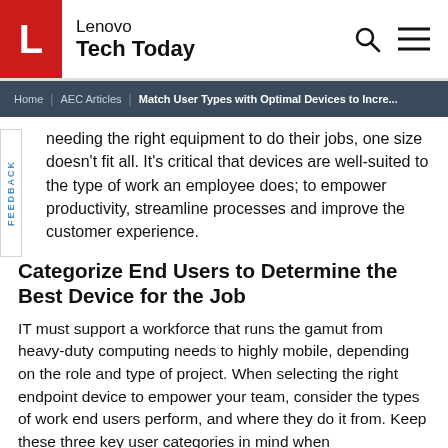Lenovo Tech Today
Home | AEC Articles | Match User Types with Optimal Devices to Incre...
needing the right equipment to do their jobs, one size doesn't fit all. It's critical that devices are well-suited to the type of work an employee does; to empower productivity, streamline processes and improve the customer experience.
Categorize End Users to Determine the Best Device for the Job
IT must support a workforce that runs the gamut from heavy-duty computing needs to highly mobile, depending on the role and type of project. When selecting the right endpoint device to empower your team, consider the types of work end users perform, and where they do it from. Keep these three key user categories in mind when